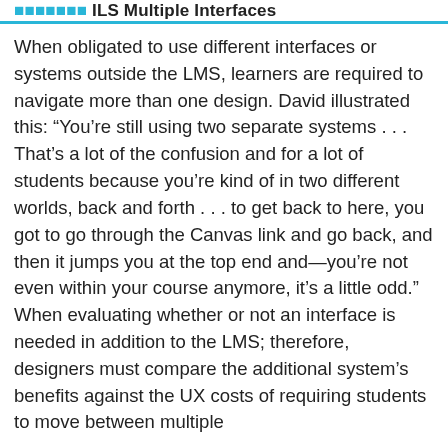ILS Multiple Interfaces
When obligated to use different interfaces or systems outside the LMS, learners are required to navigate more than one design. David illustrated this: “You're still using two separate systems . . . That's a lot of the confusion and for a lot of students because you're kind of in two different worlds, back and forth . . . to get back to here, you got to go through the Canvas link and go back, and then it jumps you at the top end and—you're not even within your course anymore, it's a little odd.” When evaluating whether or not an interface is needed in addition to the LMS; therefore, designers must compare the additional system's benefits against the UX costs of requiring students to move between multiple